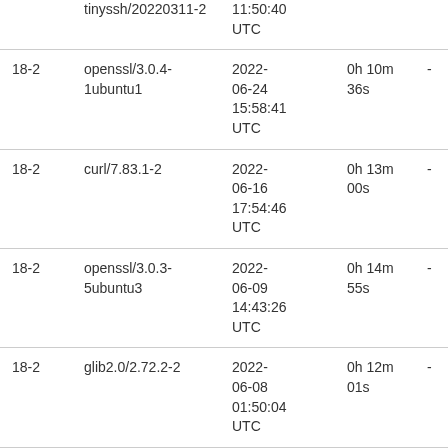|  | tinyssh/20220311-2 | 11:50:40 UTC |  |  |
| 18-2 | openssl/3.0.4-1ubuntu1 | 2022-06-24 15:58:41 UTC | 0h 10m 36s | - |
| 18-2 | curl/7.83.1-2 | 2022-06-16 17:54:46 UTC | 0h 13m 00s | - |
| 18-2 | openssl/3.0.3-5ubuntu3 | 2022-06-09 14:43:26 UTC | 0h 14m 55s | - |
| 18-2 | glib2.0/2.72.2-2 | 2022-06-08 01:50:04 UTC | 0h 12m 01s | - |